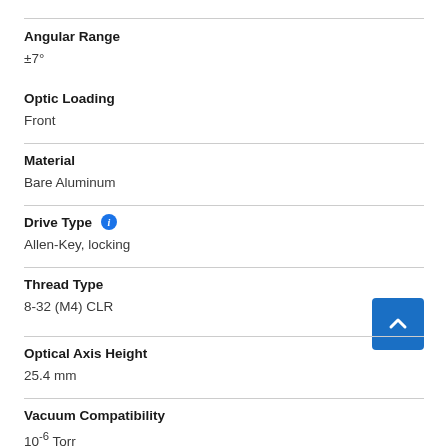Angular Range
±7°
Optic Loading
Front
Material
Bare Aluminum
Drive Type
Allen-Key, locking
Thread Type
8-32 (M4) CLR
Optical Axis Height
25.4 mm
Vacuum Compatibility
10⁻⁶ Torr